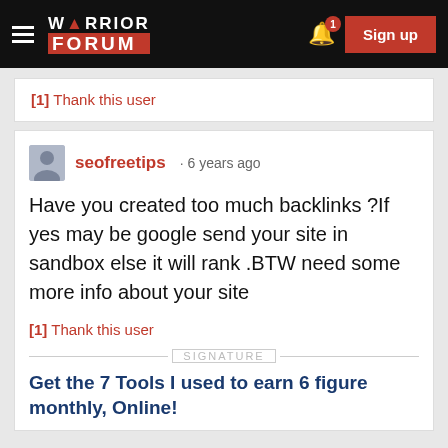Warrior Forum — Sign up
[1] Thank this user
seofreetips · 6 years ago
Have you created too much backlinks ?If yes may be google send your site in sandbox else it will rank .BTW need some more info about your site
[1] Thank this user
SIGNATURE
Get the 7 Tools I used to earn 6 figure monthly, Online!